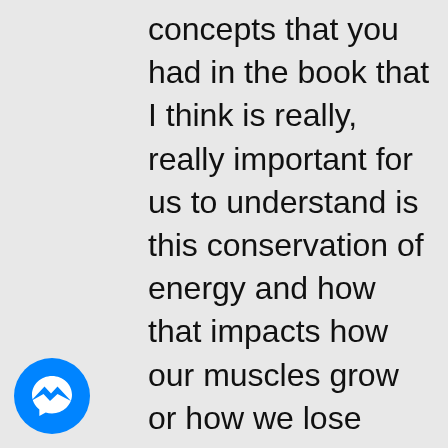concepts that you had in the book that I think is really, really important for us to understand is this conservation of energy and how that impacts how our muscles grow or how we lose weight. Can you kind of talk through a little bit of this conservation of energy and our bodies kind of do that?
[Figure (logo): Facebook Messenger logo: blue circle with white lightning bolt chat bubble icon]